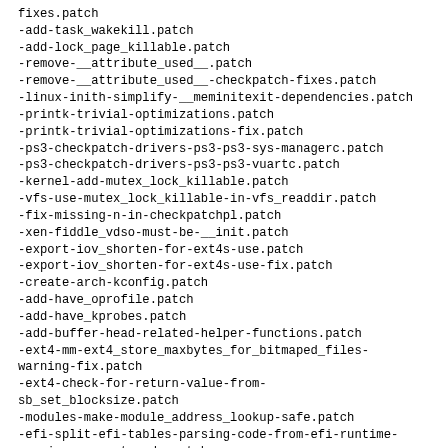fixes.patch
-add-task_wakekill.patch
-add-lock_page_killable.patch
-remove-__attribute_used__.patch
-remove-__attribute_used__-checkpatch-fixes.patch
-linux-inith-simplify-__meminitexit-dependencies.patch
-printk-trivial-optimizations.patch
-printk-trivial-optimizations-fix.patch
-ps3-checkpatch-drivers-ps3-ps3-sys-managerc.patch
-ps3-checkpatch-drivers-ps3-ps3-vuartc.patch
-kernel-add-mutex_lock_killable.patch
-vfs-use-mutex_lock_killable-in-vfs_readdir.patch
-fix-missing-n-in-checkpatchpl.patch
-xen-fiddle_vdso-must-be-__init.patch
-export-iov_shorten-for-ext4s-use.patch
-export-iov_shorten-for-ext4s-use-fix.patch
-create-arch-kconfig.patch
-add-have_oprofile.patch
-add-have_kprobes.patch
-add-buffer-head-related-helper-functions.patch
-ext4-mm-ext4_store_maxbytes_for_bitmaped_files-warning-fix.patch
-ext4-check-for-return-value-from-sb_set_blocksize.patch
-modules-make-module_address_lookup-safe.patch
-efi-split-efi-tables-parsing-code-from-efi-runtime-service-support-code.patch
-dont-error-on-higher-hz-values.patch
-make-copy_from_user_inatomic-not-zero-the-tail-on-i386-vs-reiser4.patch